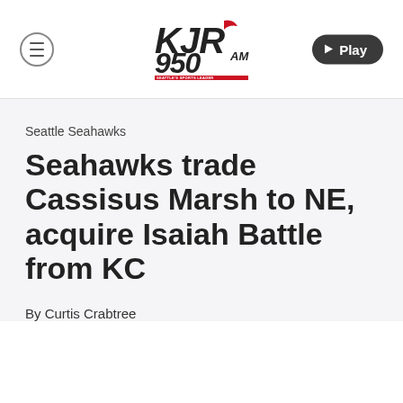[Figure (logo): KJR 950 AM Seattle's Sports Leader radio station logo with hamburger menu button on left and Play button on right]
Seattle Seahawks
Seahawks trade Cassisus Marsh to NE, acquire Isaiah Battle from KC
By Curtis Crabtree